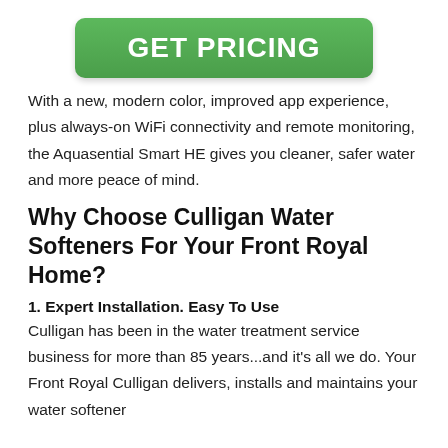[Figure (other): Green rounded button with white bold text reading GET PRICING]
With a new, modern color, improved app experience, plus always-on WiFi connectivity and remote monitoring, the Aquasential Smart HE gives you cleaner, safer water and more peace of mind.
Why Choose Culligan Water Softeners For Your Front Royal Home?
1. Expert Installation. Easy To Use
Culligan has been in the water treatment service business for more than 85 years...and it's all we do. Your Front Royal Culligan delivers, installs and maintains your water softener